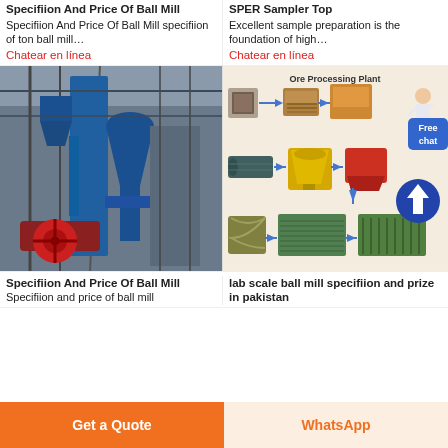Specifiion And Price Of Ball Mill
Specifiion And Price Of Ball Mill specifiion of ton ball mill…
Chatear en línea
SPER Sampler Top
Excellent sample preparation is the foundation of high…
Chatear en línea
[Figure (photo): Industrial ball mill or grinding equipment in a factory setting. Large blue metal machinery with hopper and cyclone separator.]
[Figure (flowchart): Ore Processing Plant flowchart showing crushers, mills, spiral classifier, flotation cell, and dewatering screen connected by arrows. Title: Ore Processing Plant. Person figure pointing at diagram. Free chat badge overlay.]
Specifiion And Price Of Ball Mill
Specifiion and price of ball mill
lab scale ball mill specifiion and prize in pakistan
Get a Quote
WhatsApp